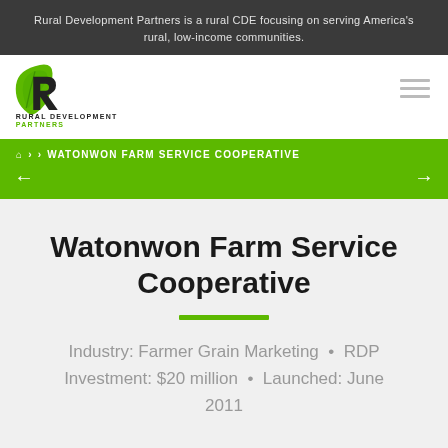Rural Development Partners is a rural CDE focusing on serving America's rural, low-income communities.
[Figure (logo): Rural Development Partners logo: stylized R with green leaf drop-shape, text RURAL DEVELOPMENT in black and PARTNERS in green]
› › WATONWON FARM SERVICE COOPERATIVE
Watonwon Farm Service Cooperative
Industry: Farmer Grain Marketing  •  RDP Investment: $20 million  •  Launched: June 2011